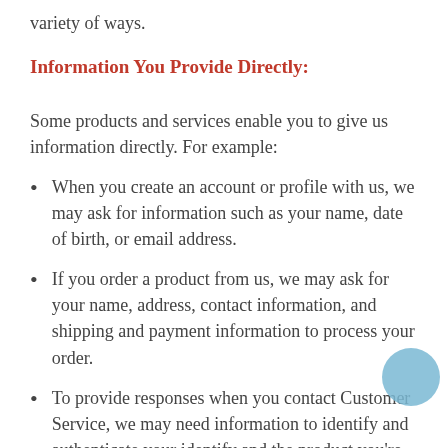variety of ways.
Information You Provide Directly:
Some products and services enable you to give us information directly. For example:
When you create an account or profile with us, we may ask for information such as your name, date of birth, or email address.
If you order a product from us, we may ask for your name, address, contact information, and shipping and payment information to process your order.
To provide responses when you contact Customer Service, we may need information to identify and authenticate your identify and the product you're inquiring about.